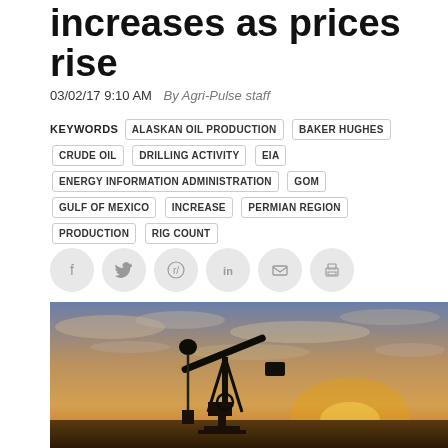increases as prices rise
03/02/17 9:10 AM   By Agri-Pulse staff
KEYWORDS  ALASKAN OIL PRODUCTION  BAKER HUGHES  CRUDE OIL  DRILLING ACTIVITY  EIA  ENERGY INFORMATION ADMINISTRATION  GOM  GULF OF MEXICO  INCREASE  PERMIAN REGION  PRODUCTION  RIG COUNT
[Figure (photo): Silhouette of an oil pump jack against a dramatic sunset sky with clouds, golden and orange hues in the background]
Social share icons: Facebook, Twitter, Reddit, LinkedIn, Email, Print